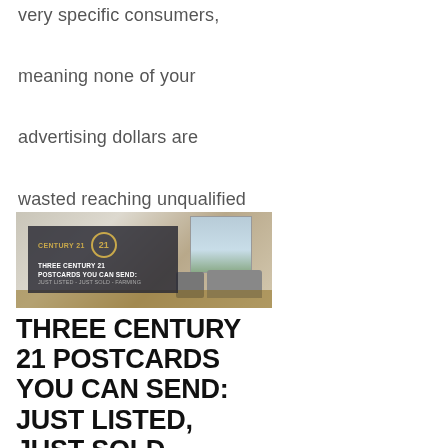very specific consumers, meaning none of your advertising dollars are wasted reaching unqualified eyes! Use one...
[Figure (photo): Interior living room photo with Century 21 overlay showing text: CENTURY 21, THREE CENTURY 21 POSTCARDS YOU CAN SEND: JUST LISTED - JUST SOLD - FARMING]
THREE CENTURY 21 POSTCARDS YOU CAN SEND: JUST LISTED, JUST SOLD, FARMING